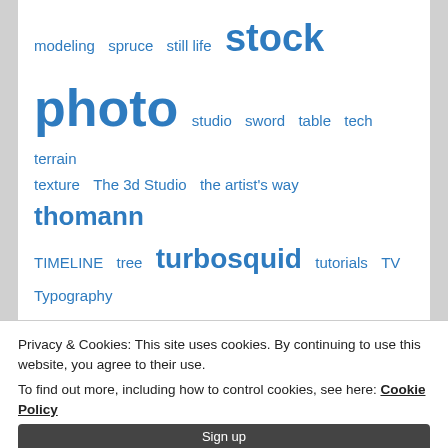modeling  spruce  still life  stock  photo  studio  sword  table  tech  terrain  texture  The 3d Studio  the artist's way  thomann  TIMELINE  tree  turbosquid  tutorials  TV  Typography  Uncategorized  uzr  video  videos  vlog  water  watercolor  Weapon  Weddings  Winkflash  winter  woman  wood  work  working out  workout  youtube  youtube/video  Zazzle
Privacy & Cookies: This site uses cookies. By continuing to use this website, you agree to their use.
To find out more, including how to control cookies, see here: Cookie Policy